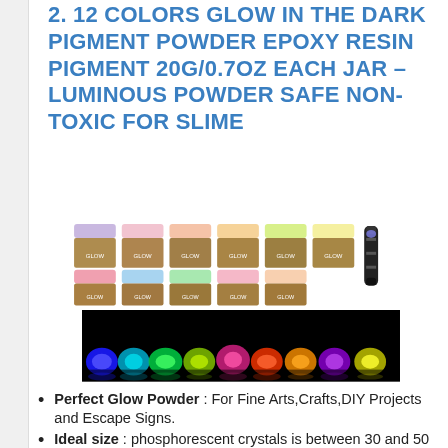2. 12 COLORS GLOW IN THE DARK PIGMENT POWDER EPOXY RESIN PIGMENT 20G/0.7OZ EACH JAR – LUMINOUS POWDER SAFE NON-TOXIC FOR SLIME
[Figure (photo): Product photo showing two rows of small colored powder jars with caps in various colors (pink, yellow, green, red, orange, purple) and a black UV flashlight pen. Below is a dark background photo showing glowing powders in blue, green, pink, red, orange, and yellow colors.]
Perfect Glow Powder : For Fine Arts,Crafts,DIY Projects and Escape Signs.
Ideal size : phosphorescent crystals is between 30 and 50